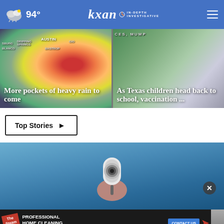94° KXAN IN-DEPTH INVESTIGATIVE
[Figure (screenshot): Weather radar map showing Austin area with red/orange precipitation pockets]
More pockets of heavy rain to come
[Figure (photo): Children back to school vaccination news photo]
As Texas children head back to school, vaccination ...
Top Stories ▶
[Figure (photo): Hand holding a white security camera device against blue background]
[Figure (screenshot): The Steam Team advertisement: Professional Home Cleaning Services - Contact Us]